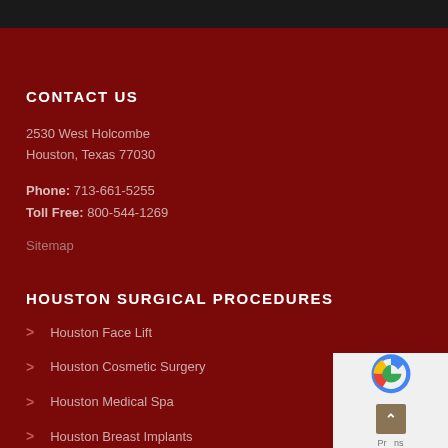CONTACT US
2530 West Holcombe
Houston, Texas 77030
Phone: 713-661-5255
Toll Free: 800-544-1269
Sitemap
HOUSTON SURGICAL PROCEDURES
Houston Face Lift
Houston Cosmetic Surgery
Houston Medical Spa
Houston Breast Implants